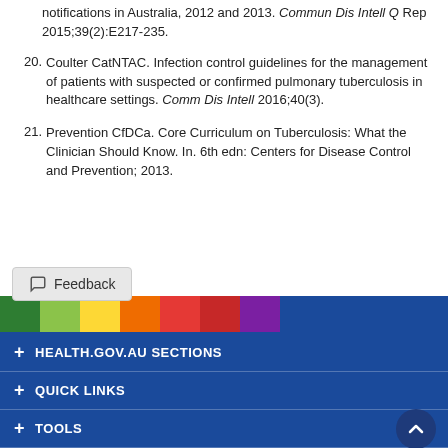notifications in Australia, 2012 and 2013. Commun Dis Intell Q Rep 2015;39(2):E217-235.
20. Coulter CatNTAC. Infection control guidelines for the management of patients with suspected or confirmed pulmonary tuberculosis in healthcare settings. Comm Dis Intell 2016;40(3).
21. Prevention CfDCa. Core Curriculum on Tuberculosis: What the Clinician Should Know. In. 6th edn: Centers for Disease Control and Prevention; 2013.
[Figure (other): Feedback button and rainbow/coloured decorative bar at bottom of page]
HEALTH.GOV.AU SECTIONS | QUICK LINKS | TOOLS